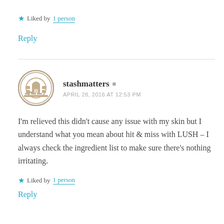★ Liked by 1 person
Reply
stashmatters · APRIL 28, 2016 AT 12:53 PM
I'm relieved this didn't cause any issue with my skin but I understand what you mean about hit & miss with LUSH – I always check the ingredient list to make sure there's nothing irritating.
★ Liked by 1 person
Reply